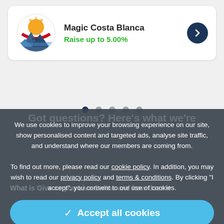[Figure (logo): Magic Costa Blanca logo - circular logo with sun and mountains in orange, red, yellow colors with text 'Magic Costa Blanca']
Magic Costa Blanca
Raise up to 5.00%
[Figure (other): Carousel navigation dots - 5 dots, first one dark/active, rest grey]
We use cookies to improve your browsing experience on our site, show personalised content and targeted ads, analyse site traffic, and understand where our members are coming from.

To find out more, please read our cookie policy. In addition, you may wish to read our privacy policy and terms & conditions. By clicking "I accept", you consent to our use of cookies.
✓ Accept all cookies
⚙ Manage settings